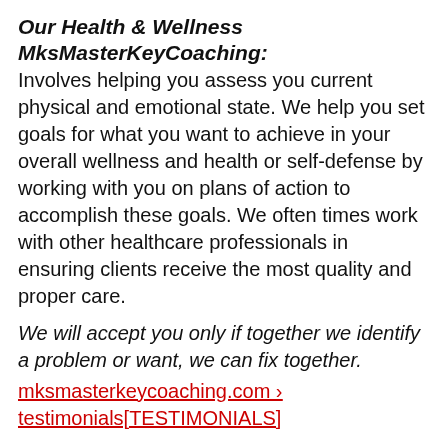Our Health & Wellness MksMasterKeyCoaching:
Involves helping you assess you current physical and emotional state. We help you set goals for what you want to achieve in your overall wellness and health or self-defense by working with you on plans of action to accomplish these goals. We often times work with other healthcare professionals in ensuring clients receive the most quality and proper care.
We will accept you only if together we identify a problem or want, we can fix together.
mksmasterkeycoaching.com › testimonials[TESTIMONIALS]
You'll get a 3-to-1 return for every dollar invested within 15 weeks. Let's connect you to more